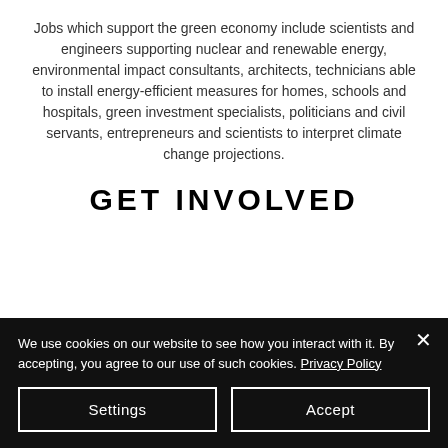Jobs which support the green economy include scientists and engineers supporting nuclear and renewable energy, environmental impact consultants, architects, technicians able to install energy-efficient measures for homes, schools and hospitals, green investment specialists, politicians and civil servants, entrepreneurs and scientists to interpret climate change projections.
GET INVOLVED
We use cookies on our website to see how you interact with it. By accepting, you agree to our use of such cookies. Privacy Policy